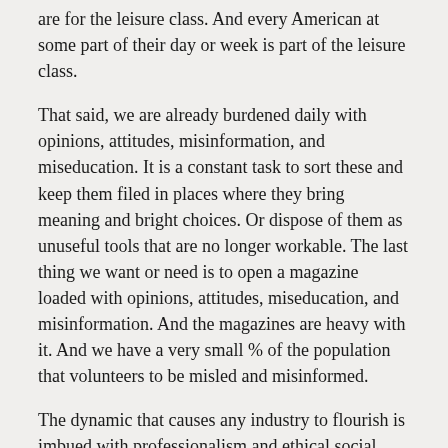are for the leisure class. And every American at some part of their day or week is part of the leisure class.
That said, we are already burdened daily with opinions, attitudes, misinformation, and miseducation. It is a constant task to sort these and keep them filed in places where they bring meaning and bright choices.  Or dispose of them as unuseful tools that are no longer workable.  The last thing we want or need is to open a magazine loaded with opinions, attitudes, miseducation, and misinformation.  And the magazines are heavy with it. And we have a very small % of the population that volunteers to be misled and misinformed.
The dynamic that causes any industry to flourish is imbued with professionalism and ethical social intercourse.  And if you take a look at the Code of Ethics for journalists, it becomes clear why journalism and media are not only in a rut but dragging down industry as media can no longer perform well enough to carry advertising.
The economy is not affecting media,  the media is affecting the